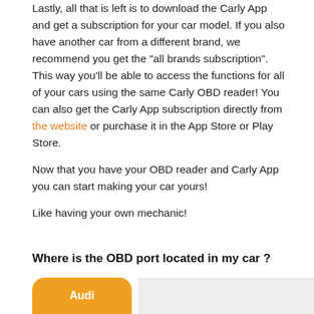Lastly, all that is left is to download the Carly App and get a subscription for your car model. If you also have another car from a different brand, we recommend you get the "all brands subscription". This way you'll be able to access the functions for all of your cars using the same Carly OBD reader! You can also get the Carly App subscription directly from the website or purchase it in the App Store or Play Store.
Now that you have your OBD reader and Carly App you can start making your car yours!
Like having your own mechanic!
Where is the OBD port located in my car ?
[Figure (other): Tab bar showing Audi tab selected in orange and a content panel to the right]